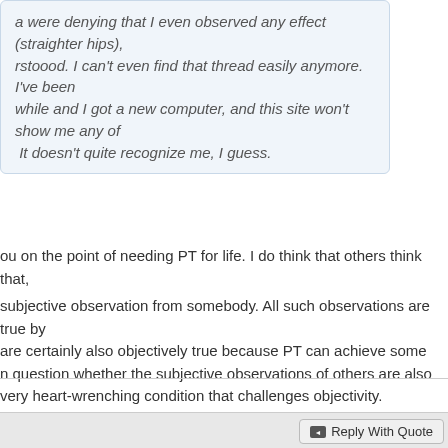a were denying that I even observed any effect (straighter hips), rstoood. I can't even find that thread easily anymore. I've been while and I got a new computer, and this site won't show me any of It doesn't quite recognize me, I guess.
ou on the point of needing PT for life. I do think that others think that,
subjective observation from somebody. All such observations are true by are certainly also objectively true because PT can achieve some n question whether the subjective observations of others are also very heart-wrenching condition that challenges objectivity.
twin girls with scoliosis
Alternative medicine that works?
Reply With Quote